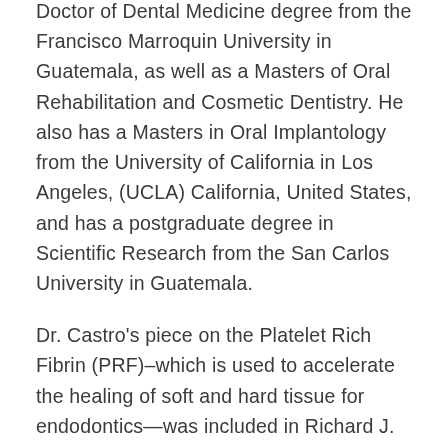Doctor of Dental Medicine degree from the Francisco Marroquin University in Guatemala, as well as a Masters of Oral Rehabilitation and Cosmetic Dentistry. He also has a Masters in Oral Implantology from the University of California in Los Angeles, (UCLA) California, United States, and has a postgraduate degree in Scientific Research from the San Carlos University in Guatemala.
Dr. Castro's piece on the Platelet Rich Fibrin (PRF)–which is used to accelerate the healing of soft and hard tissue for endodontics—was included in Richard J. Miron's Understanding Platelet Rich Fibrin, a book published by Quintessence Publishing. Castro has two additional PRF research articles that are...